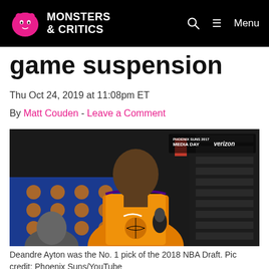Monsters & Critics — Menu
game suspension
Thu Oct 24, 2019 at 11:08pm ET
By Matt Couden - Leave a Comment
[Figure (photo): Deandre Ayton in a Phoenix Suns orange jersey holding a microphone at Phoenix Suns Media Day with Verizon branding visible in the upper right corner.]
Deandre Ayton was the No. 1 pick of the 2018 NBA Draft. Pic credit: Phoenix Suns/YouTube